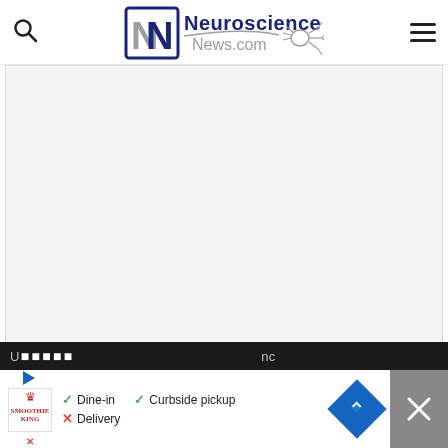[Figure (logo): Neuroscience News.com website header logo with stylized NN lettermark and neuron illustration]
[Figure (screenshot): Loading placeholder area showing three grey dots indicating content is loading]
[Figure (infographic): Floating dark blue circular heart/like button on right side]
[Figure (infographic): Floating white circular share button on right side]
[Figure (screenshot): Bottom advertisement bar for a restaurant showing Dine-in checkmark, Curbside pickup checkmark, Delivery X mark, with Smoothie King logo and navigation arrow icon and close X button]
U...nc...